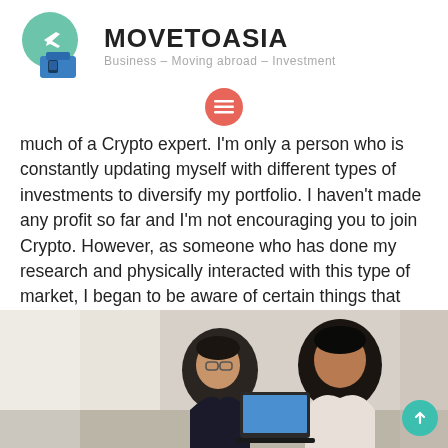MOVETOASIA — Business – Moving abroad – Investment
much of a Crypto expert. I'm only a person who is constantly updating myself with different types of investments to diversify my portfolio. I haven't made any profit so far and I'm not encouraging you to join Crypto. However, as someone who has done my research and physically interacted with this type of market, I began to be aware of certain things that even you could find helpful at some points:
[Figure (photo): Two men looking at a laptop screen, appearing to be in a business or office discussion setting.]